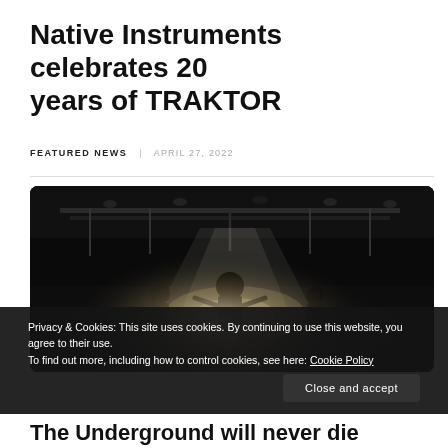Native Instruments celebrates 20 years of TRAKTOR
FEATURED NEWS  APRIL 27, 2022
[Figure (photo): Black and white photograph of a DJ or live music performance on stage, with overhead lighting rig visible and crowd in the background. Moody, dark atmosphere.]
Privacy & Cookies: This site uses cookies. By continuing to use this website, you agree to their use.
To find out more, including how to control cookies, see here: Cookie Policy
Close and accept
The Underground will never die